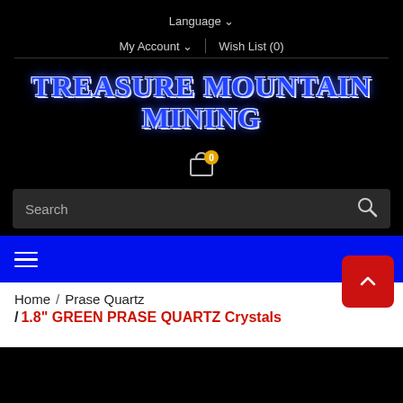Language
My Account  |  Wish List (0)
Treasure Mountain Mining
[Figure (other): Shopping cart icon with badge showing 0]
Search
≡ (hamburger menu icon on blue navigation bar)
Home / Prase Quartz
/ 1.8" GREEN PRASE QUARTZ Crystals